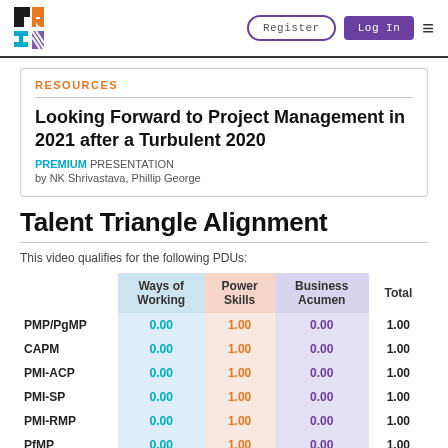PMI logo | Register | Log In | Menu
RESOURCES
Looking Forward to Project Management in 2021 after a Turbulent 2020
PREMIUM PRESENTATION
by NK Shrivastava, Phillip George
Talent Triangle Alignment
This video qualifies for the following PDUs:
|  | Ways of Working | Power Skills | Business Acumen | Total |
| --- | --- | --- | --- | --- |
| PMP/PgMP | 0.00 | 1.00 | 0.00 | 1.00 |
| CAPM | 0.00 | 1.00 | 0.00 | 1.00 |
| PMI-ACP | 0.00 | 1.00 | 0.00 | 1.00 |
| PMI-SP | 0.00 | 1.00 | 0.00 | 1.00 |
| PMI-RMP | 0.00 | 1.00 | 0.00 | 1.00 |
| PfMP | 0.00 | 1.00 | 0.00 | 1.00 |